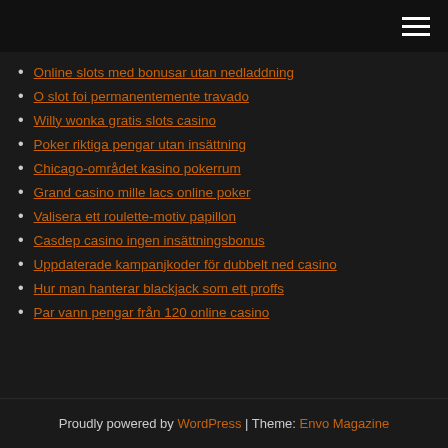Navigation menu header bar
Online slots med bonusar utan nedladdning
O slot foi permanentemente travado
Willy wonka gratis slots casino
Poker riktiga pengar utan insättning
Chicago-området kasino pokerrum
Grand casino mille lacs online poker
Valisera ett roulette-motiv papillon
Casdep casino ingen insättningsbonus
Uppdaterade kampanjkoder för dubbelt ned casino
Hur man hanterar blackjack som ett proffs
Par vann pengar från 120 online casino
Proudly powered by WordPress | Theme: Envo Magazine